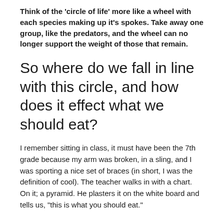Think of the 'circle of life' more like a wheel with each species making up it's spokes. Take away one group, like the predators, and the wheel can no longer support the weight of those that remain.
So where do we fall in line with this circle, and how does it effect what we should eat?
I remember sitting in class, it must have been the 7th grade because my arm was broken, in a sling, and I was sporting a nice set of braces (in short, I was the definition of cool). The teacher walks in with a chart. On it; a pyramid. He plasters it on the white board and tells us, "this is what you should eat."